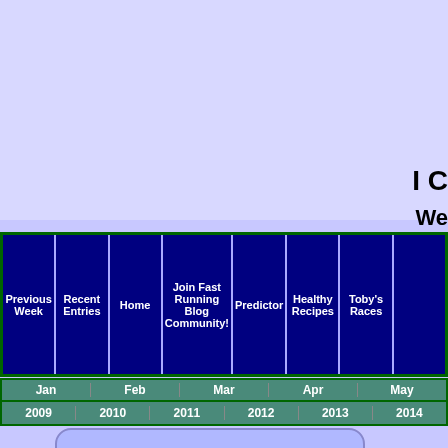I C
We
| Previous Week | Recent Entries | Home | Join Fast Running Blog Community! | Predictor | Healthy Recipes | Toby's Races |  |
| --- | --- | --- | --- | --- | --- | --- | --- |
| Jan | Feb | Mar | Apr | May |
| --- | --- | --- | --- | --- |
| 2009 | 2010 | 2011 | 2012 | 2013 | 2014 |
Username: [input] Password: [input]